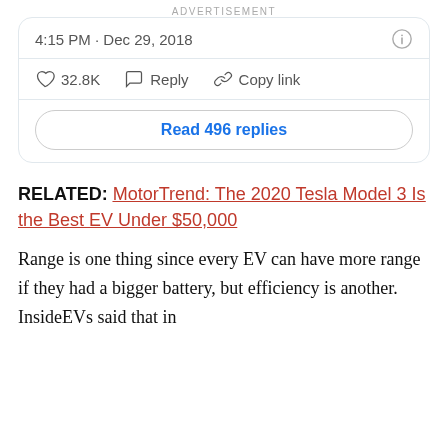ADVERTISEMENT
4:15 PM · Dec 29, 2018
♡ 32.8K   ♡ Reply   🔗 Copy link
Read 496 replies
RELATED: MotorTrend: The 2020 Tesla Model 3 Is the Best EV Under $50,000
Range is one thing since every EV can have more range if they had a bigger battery, but efficiency is another. InsideEVs said that in